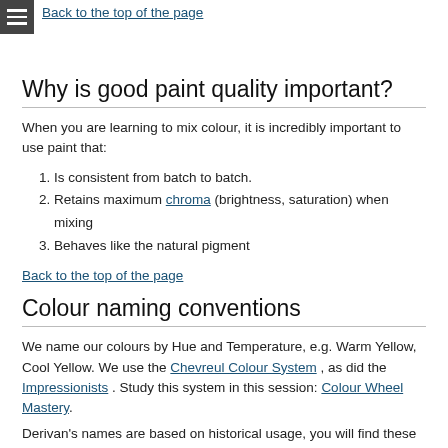Back to the top of the page
Why is good paint quality important?
When you are learning to mix colour, it is incredibly important to use paint that:
Is consistent from batch to batch.
Retains maximum chroma (brightness, saturation) when mixing
Behaves like the natural pigment
Back to the top of the page
Colour naming conventions
We name our colours by Hue and Temperature, e.g. Warm Yellow, Cool Yellow. We use the Chevreul Colour System , as did the Impressionists . Study this system in this session: Colour Wheel Mastery.
Derivan's names are based on historical usage, you will find these names are used by most paint manufacturers and art systems, although Derivan's naming conventions are probably the most accurate. Other brands may vary. As you work through the Syllabus in our 'Monet &